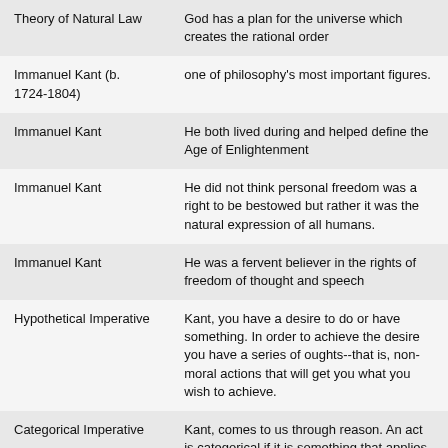| Theory of Natural Law | God has a plan for the universe which creates the rational order |
| Immanuel Kant (b. 1724-1804) | one of philosophy's most important figures. |
| Immanuel Kant | He both lived during and helped define the Age of Enlightenment |
| Immanuel Kant | He did not think personal freedom was a right to be bestowed but rather it was the natural expression of all humans. |
| Immanuel Kant | He was a fervent believer in the rights of freedom of thought and speech |
| Hypothetical Imperative | Kant, you have a desire to do or have something. In order to achieve the desire you have a series of oughts--that is, non-moral actions that will get you what you wish to achieve. |
| Categorical Imperative | Kant, comes to us through reason. An act is categorical if it is something that applies to everyone in all instances, must be acted on the same way and every time the situation arises |
|  | Kant, is a procedure for reasoning if an act |